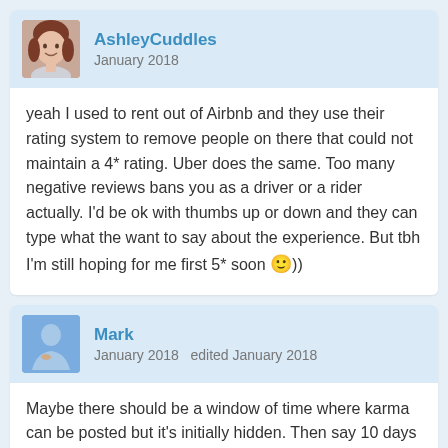AshleyCuddles
January 2018
yeah I used to rent out of Airbnb and they use their rating system to remove people on there that could not maintain a 4* rating. Uber does the same. Too many negative reviews bans you as a driver or a rider actually. I'd be ok with thumbs up or down and they can type what the want to say about the experience. But tbh I'm still hoping for me first 5* soon 🙂))
Mark
January 2018   edited January 2018
Maybe there should be a window of time where karma can be posted but it's initially hidden. Then say 10 days later karma ability is locked and the reviews are then revealed. Only downside I can think of is you can't delete and re-post